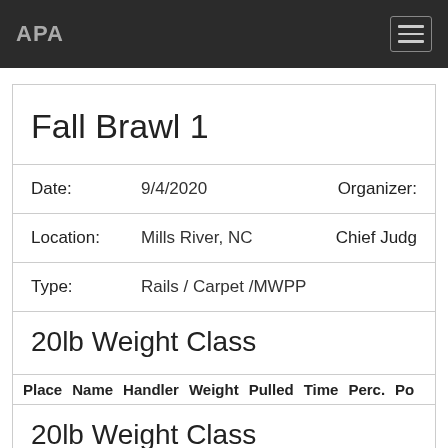APA
Fall Brawl 1
Date: 9/4/2020   Organizer:
Location: Mills River, NC   Chief Judge
Type: Rails / Carpet /MWPP
20lb Weight Class
| Place | Name | Handler | Weight | Pulled | Time | Perc. | Po |
| --- | --- | --- | --- | --- | --- | --- | --- |
20lb Weight Class